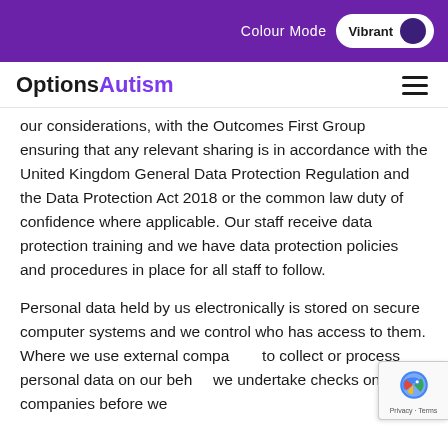Colour Mode Vibrant
OptionsAutism
our considerations, with the Outcomes First Group ensuring that any relevant sharing is in accordance with the United Kingdom General Data Protection Regulation and the Data Protection Act 2018 or the common law duty of confidence where applicable. Our staff receive data protection training and we have data protection policies and procedures in place for all staff to follow.
Personal data held by us electronically is stored on secure computer systems and we control who has access to them. Where we use external companies to collect or process personal data on our behalf we undertake checks on these companies before we